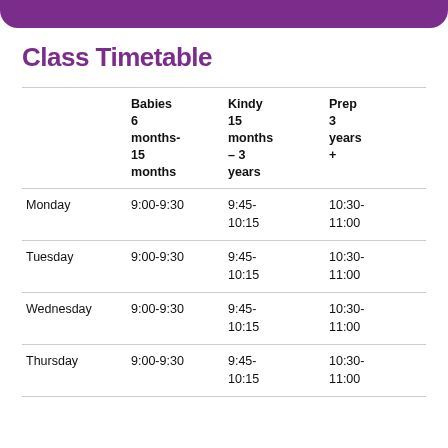Class Timetable
|  | Babies 6 months-15 months | Kindy 15 months – 3 years | Prep 3 years + |
| --- | --- | --- | --- |
| Monday | 9:00-9:30 | 9:45-10:15 | 10:30-11:00 |
| Tuesday | 9:00-9:30 | 9:45-10:15 | 10:30-11:00 |
| Wednesday | 9:00-9:30 | 9:45-10:15 | 10:30-11:00 |
| Thursday | 9:00-9:30 | 9:45-10:15 | 10:30-11:00 |